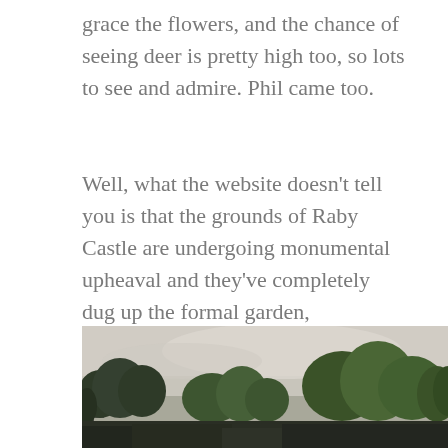grace the flowers, and the chance of seeing deer is pretty high too, so lots to see and admire. Phil came too.
Well, what the website doesn't tell you is that the grounds of Raby Castle are undergoing monumental upheaval and they've completely dug up the formal garden,
This is a little of what is lost.
[Figure (photo): Landscape photo showing trees and sky, with castle ruins visible on the left and green trees filling the scene under a pale cloudy sky.]